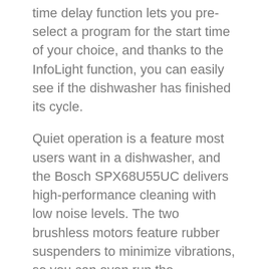time delay function lets you pre-select a program for the start time of your choice, and thanks to the InfoLight function, you can easily see if the dishwasher has finished its cycle.
Quiet operation is a feature most users want in a dishwasher, and the Bosch SPX68U55UC delivers high-performance cleaning with low noise levels. The two brushless motors feature rubber suspenders to minimize vibrations, so you can even run the dishwasher at night without bothering anyone. Thanks to the quiet operation at only 40 to 45 dB, this dishwasher is also a great choice for open areas and eat-in kitchens.
Pros Third rack PrecisionWash feature Quiet operation Cons Price 22. SPT SD-9241W Best Portable Dishwasher Features Wash cycles: 6 Place settings: 8 Overall dimensions: 26 x 17.7 x 36 inches Weight: 121 lb Warranty: 1-year limited